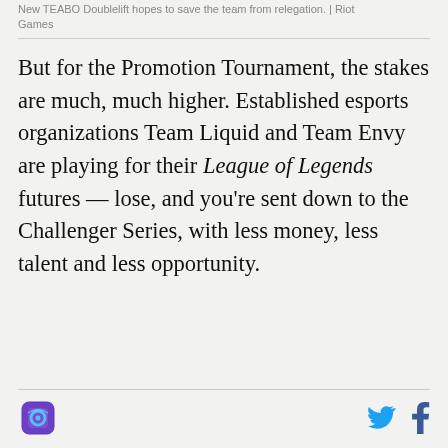New TEABO Doublelift hopes to save the team from relegation. | Riot Games
But for the Promotion Tournament, the stakes are much, much higher. Established esports organizations Team Liquid and Team Envy are playing for their League of Legends futures — lose, and you're sent down to the Challenger Series, with less money, less talent and less opportunity.
[logo] [twitter] [facebook]